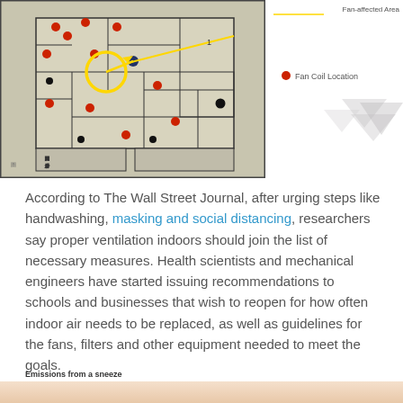[Figure (photo): Photograph of a building floor plan blueprint laid flat, annotated with red dots indicating Fan Coil Locations and a yellow circle highlighting one area, with yellow arrows pointing to a Fan-affected Area. A legend on the right side shows the markers.]
According to The Wall Street Journal, after urging steps like handwashing, masking and social distancing, researchers say proper ventilation indoors should join the list of necessary measures. Health scientists and mechanical engineers have started issuing recommendations to schools and businesses that wish to reopen for how often indoor air needs to be replaced, as well as guidelines for the fans, filters and other equipment needed to meet the goals.
Emissions from a sneeze
[Figure (photo): Bottom portion of an image showing a sneeze emission, partially visible at the bottom of the page.]